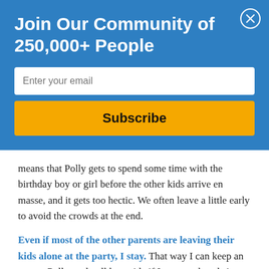Join Our Community of 250,000+ People
Enter your email
Subscribe
means that Polly gets to spend some time with the birthday boy or girl before the other kids arrive en masse, and it gets too hectic. We often leave a little early to avoid the crowds at the end.
Even if most of the other parents are leaving their kids alone at the party, I stay. That way I can keep an eye on Polly, and pull her aside if I can see that she's getting overwhelmed.
But I was right. The party is coming to a